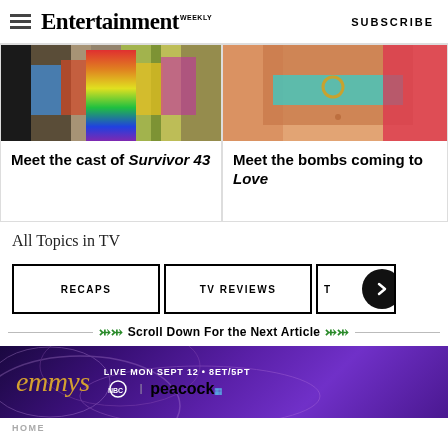Entertainment Weekly — SUBSCRIBE
[Figure (photo): Partial view of colorful outdoor group photo, showing lower halves of people in casual summer clothing]
Meet the cast of Survivor 43
[Figure (photo): Close-up photo of a person in a colorful swimsuit with a gold hoop earring]
Meet the bombs coming to Love
All Topics in TV
RECAPS
TV REVIEWS
Scroll Down For the Next Article
[Figure (photo): Emmys advertisement banner: emmys logo, LIVE MON SEPT 12 • 8ET/5PT, NBC | peacock]